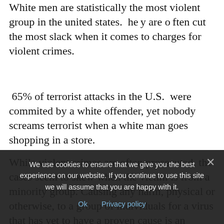White men are statistically the most violent group in the united states. They are often cut the most slack when it comes to charges for violent crimes.
65% of terrorist attacks in the U.S. were commited by a white offender, yet nobody screams terrorist when a white man goes shopping in a store.
While violent crimes are often prosecuted, the cases seem to skew when the victim is from a minority group. Causing any harm, physical or otherwise, to a group of individuals for a virus that has yet to have a proven cause is an ignorant and dangerous thing to do. Nobody should fear for their
We use cookies to ensure that we give you the best experience on our website. If you continue to use this site we will assume that you are happy with it.
Ok   Privacy policy